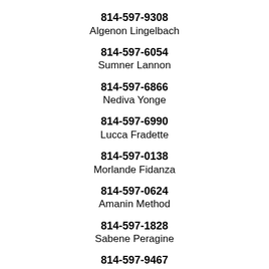814-597-9308
Algenon Lingelbach
814-597-6054
Sumner Lannon
814-597-6866
Nediva Yonge
814-597-6990
Lucca Fradette
814-597-0138
Morlande Fidanza
814-597-0624
Amanin Method
814-597-1828
Sabene Peragine
814-597-9467
Mayeer Minnehan
814-597-3256